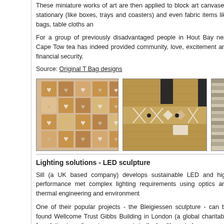These miniature works of art are then applied to block art canvases, stationary (like boxes, trays and coasters) and even fabric items like bags, table cloths and...
For a group of previously disadvantaged people in Hout Bay near Cape Town, tea has indeed provided community, love, excitement and financial security.
Source: Original T Bag designs
[Figure (photo): A decorative block canvas with a grid of squares, each containing heart motifs in beige and brown tones, viewed at an angle.]
[Figure (photo): A burlap/hessian tote bag with decorative geometric and X pattern trim near the top, with a dark strap.]
[Figure (photo): Partial view of a third image showing striped/woven textile items.]
Lighting solutions - LED sculpture
Sill (a UK based company) develops sustainable LED and high performance metal complex lighting requirements using optics and thermal engineering and environmental...
One of their popular projects - the Bleigiessen sculpture - can be found in Wellcome Trust Gibbs Building in London (a global charitable foundation extraordinary improvements in the health sector).
The Gibbs Building shows successful engagement with the contrasting urban busy Euston Road frontage and opposing quiet Bloomsbury elevation...